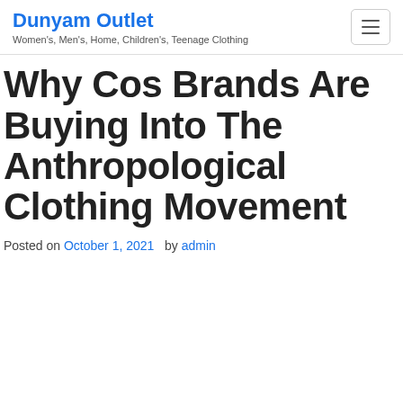Dunyam Outlet – Women's, Men's, Home, Children's, Teenage Clothing
Why Cos Brands Are Buying Into The Anthropological Clothing Movement
Posted on October 1, 2021  by admin